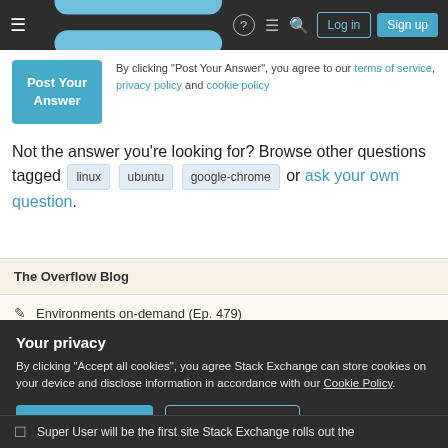Stack Exchange navigation bar with Log in and Sign up buttons
By clicking "Post Your Answer", you agree to our terms of service, privacy policy and cookie policy
Not the answer you're looking for? Browse other questions tagged linux ubuntu google-chrome or ask your own question.
The Overflow Blog
Environments on-demand (Ep. 479)
Your privacy
By clicking "Accept all cookies", you agree Stack Exchange can store cookies on your device and disclose information in accordance with our Cookie Policy.
Accept all cookies  Customize settings
Super User will be the first site Stack Exchange rolls out the